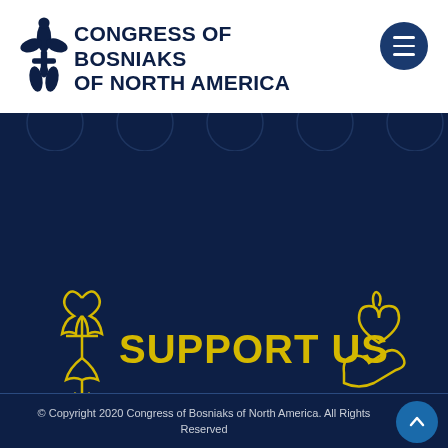[Figure (logo): Congress of Bosniaks of North America logo with fleur-de-lis symbol and text]
[Figure (illustration): Support Us banner with fleur-de-lis on left and heart-hand icon on right, yellow text on dark navy background]
© Copyright 2020 Congress of Bosniaks of North America. All Rights Reserved